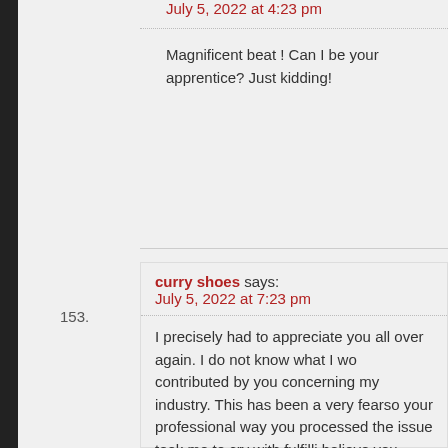July 5, 2022 at 4:23 pm
Magnificent beat ! Can I be your apprentice? Just kidding!
153.
curry shoes says:
July 5, 2022 at 7:23 pm
I precisely had to appreciate you all over again. I do not know what I wo contributed by you concerning my industry. This has been a very fearso your professional way you processed the issue took me to cry with fulfilli believe you really know what an amazing job that you are doing instruct I am sure you have never come across all of us.
154.
supreme clothing says:
July 5, 2022 at 7:23 pm
I want to convey my gratitude for your kind-heartedness in support of me special commitment to passing the message all over had been exceedir